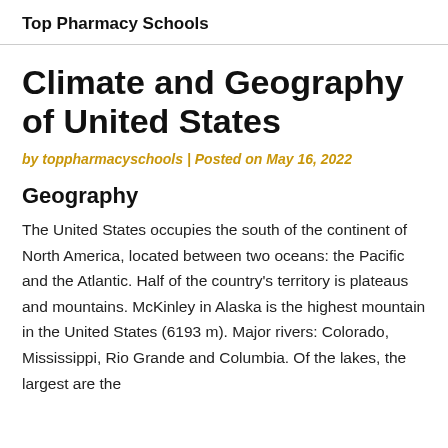Top Pharmacy Schools
Climate and Geography of United States
by toppharmacyschools | Posted on May 16, 2022
Geography
The United States occupies the south of the continent of North America, located between two oceans: the Pacific and the Atlantic. Half of the country's territory is plateaus and mountains. McKinley in Alaska is the highest mountain in the United States (6193 m). Major rivers: Colorado, Mississippi, Rio Grande and Columbia. Of the lakes, the largest are the